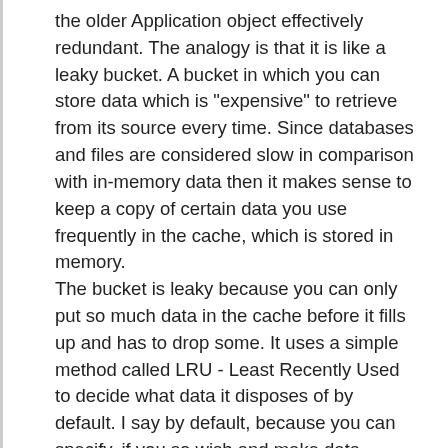the older Application object effectively redundant. The analogy is that it is like a leaky bucket. A bucket in which you can store data which is "expensive" to retrieve from its source every time. Since databases and files are considered slow in comparison with in-memory data then it makes sense to keep a copy of certain data you use frequently in the cache, which is stored in memory.
The bucket is leaky because you can only put so much data in the cache before it fills up and has to drop some. It uses a simple method called LRU - Least Recently Used to decide what data it disposes of by default. I say by default, because you can specify, if you so wish and make data persist for a period of time or make it dependent on other data on file, database, or cached data.
The cache is shared however by the whole application and is therefore accessible by the whole application, so you have to be careful what kind on data you store in here. You probably don't want to store user specific data here!